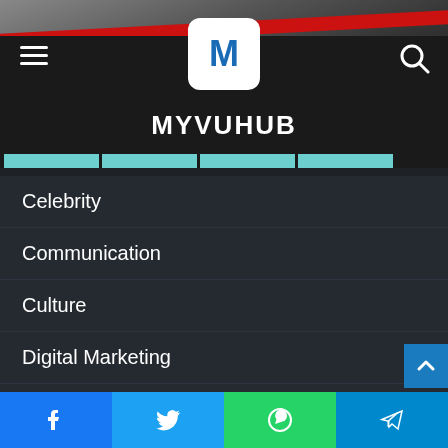MYVUHUB
Celebrity
Communication
Culture
Digital Marketing
Education
Entertainment
Exercise
Fashion
Featured
Food